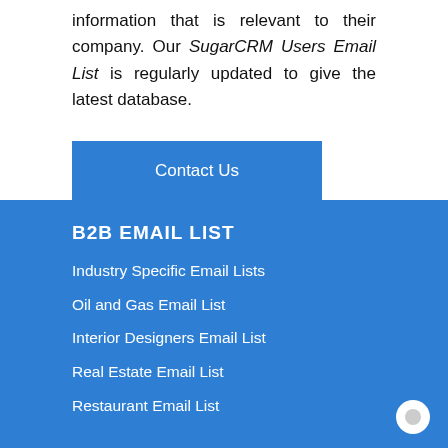information that is relevant to their company. Our SugarCRM Users Email List is regularly updated to give the latest database.
Contact Us
B2B EMAIL LIST
Industry Specific Email Lists
Oil and Gas Email List
Interior Designers Email List
Real Estate Email List
Restaurant Email List